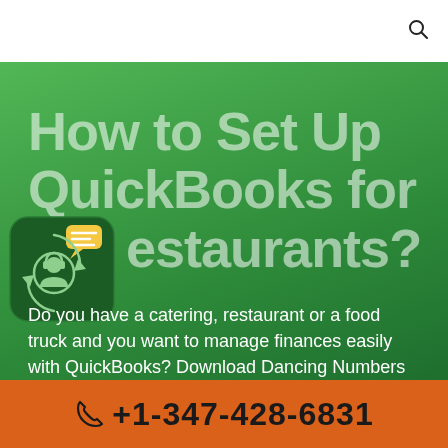How to Set Up QuickBooks for Restaurants?
[Figure (illustration): Customer support agent icon — circular graphic with a headset-wearing person and chat bubble, surrounded by rotating arrows, on a dark green rounded square background]
Do you have a catering, restaurant or a food truck and you want to manage finances easily with QuickBooks? Download Dancing Numbers and set up the QuickBooks for your restaurant.
+1-347-428-6831